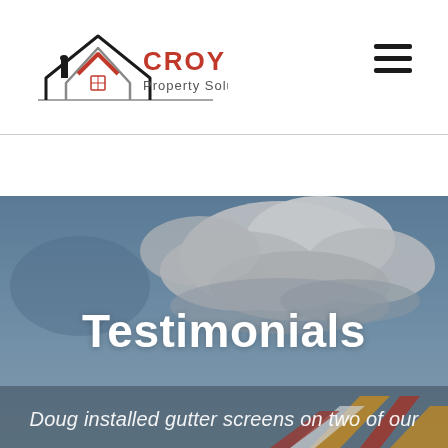[Figure (logo): Croy Property Solutions logo with stylized house roofline graphic in black, grey and red, with 'CROY' in red bold text and 'Property Solutions' in grey below]
[Figure (other): Hamburger menu icon (three horizontal lines) in top right corner of header]
[Figure (photo): Hero background image showing a partly cloudy blue sky with a colourful striped canopy or tent visible in the lower right corner]
Testimonials
Doug installed gutter screens on two of our